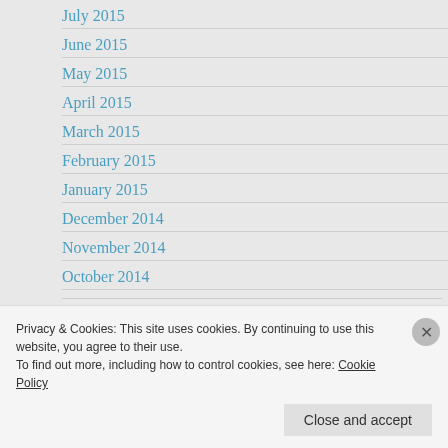July 2015
June 2015
May 2015
April 2015
March 2015
February 2015
January 2015
December 2014
November 2014
October 2014
CATEGORIES
Select Category
Privacy & Cookies: This site uses cookies. By continuing to use this website, you agree to their use.
To find out more, including how to control cookies, see here: Cookie Policy
Close and accept